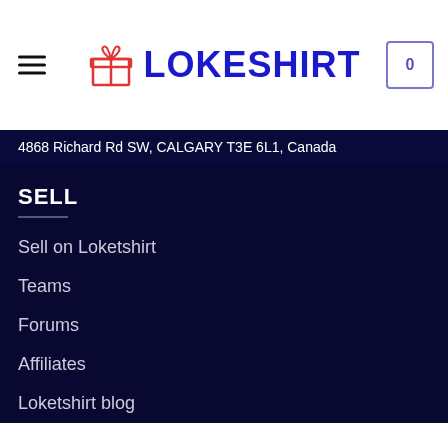LOKESHIRT
4868 Richard Rd SW, CALGARY T3E 6L1, Canada
SELL
Sell on Loketshirt
Teams
Forums
Affiliates
Loketshirt blog